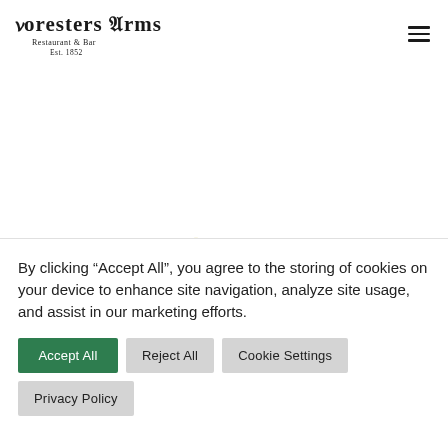[Figure (logo): Foresters Arms Restaurant & Bar Est. 1852 logo in blackletter/old-english style font]
[Figure (other): Hamburger menu icon (three horizontal lines) in top right corner]
[Figure (other): Loading spinner / arc graphic centered on page]
By clicking “Accept All”, you agree to the storing of cookies on your device to enhance site navigation, analyze site usage, and assist in our marketing efforts.
Accept All
Reject All
Cookie Settings
Privacy Policy